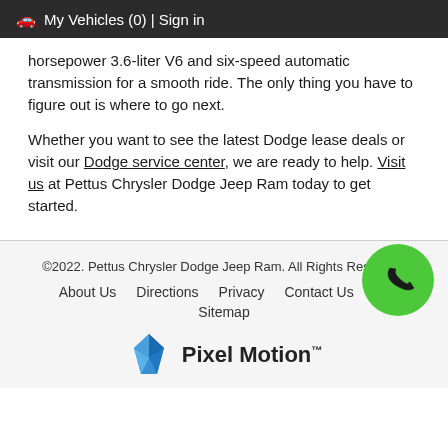🚗 My Vehicles (0) | Sign in
horsepower 3.6-liter V6 and six-speed automatic transmission for a smooth ride. The only thing you have to figure out is where to go next.
Whether you want to see the latest Dodge lease deals or visit our Dodge service center, we are ready to help. Visit us at Pettus Chrysler Dodge Jeep Ram today to get started.
©2022. Pettus Chrysler Dodge Jeep Ram. All Rights Reserved.
About Us   Directions   Privacy   Contact Us   Lo...
Sitemap
[Figure (logo): Pixel Motion logo with blue geometric crystal icon and bold text 'Pixel Motion' with trademark symbol]